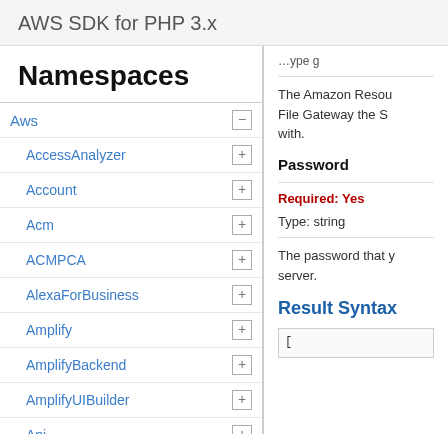AWS SDK for PHP 3.x
Namespaces
Aws
AccessAnalyzer
Account
Acm
ACMPCA
AlexaForBusiness
Amplify
AmplifyBackend
AmplifyUIBuilder
Api
ApiGateway
ApiGatewayManagementApi
The Amazon Resource... File Gateway the S... with.
Password
Required: Yes
Type: string
The password that y... server.
Result Syntax